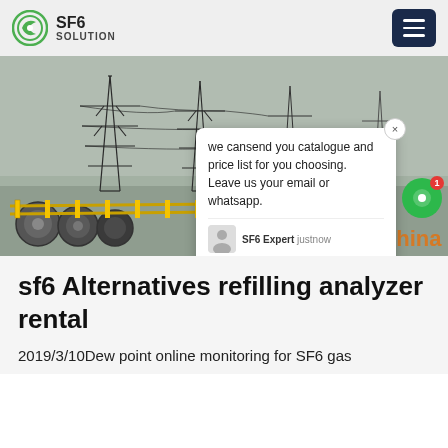SF6 SOLUTION
[Figure (photo): Aerial/ground view of high-voltage power transmission towers at an electrical substation in foggy/rainy conditions with cable reels in foreground. Watermark: SF6China]
sf6 Alternatives refilling analyzer rental
2019/3/10Dew point online monitoring for SF6 gas